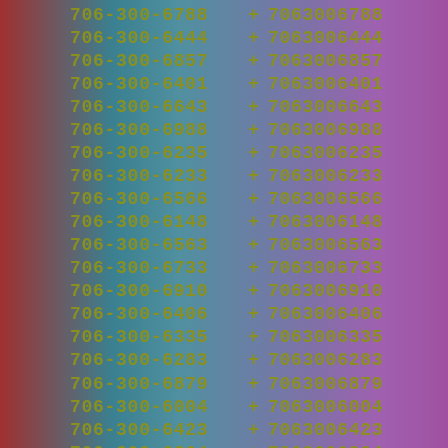706-300-6788 + 7063006788
706-300-6444 + 7063006444
706-300-6857 + 7063006857
706-300-6401 + 7063006401
706-300-6643 + 7063006643
706-300-6988 + 7063006988
706-300-6235 + 7063006235
706-300-6233 + 7063006233
706-300-6566 + 7063006566
706-300-6148 + 7063006148
706-300-6563 + 7063006563
706-300-6733 + 7063006733
706-300-6910 + 7063006910
706-300-6406 + 7063006406
706-300-6335 + 7063006335
706-300-6283 + 7063006283
706-300-6879 + 7063006879
706-300-6004 + 7063006004
706-300-6423 + 7063006423
706-300-6804 + 7063006804
706-300-6755 + 7063006755
706-300-6182 + 7063006182
706-300-6043 + 7063006043